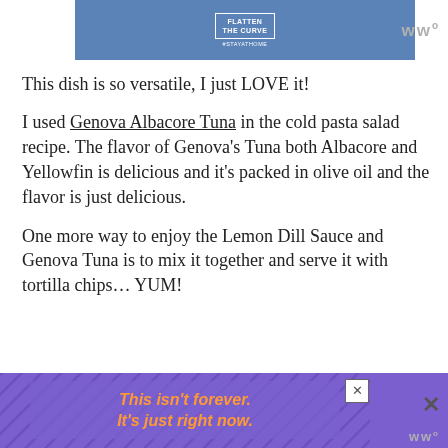[Figure (logo): Flatten the Curve #StayAtHome logo on a blue banner background]
This dish is so versatile, I just LOVE it!
I used Genova Albacore Tuna in the cold pasta salad recipe. The flavor of Genova’s Tuna both Albacore and Yellowfin is delicious and it’s packed in olive oil and the flavor is just delicious.
One more way to enjoy the Lemon Dill Sauce and Genova Tuna is to mix it together and serve it with tortilla chips… YUM!
[Figure (other): Advertisement banner: purple background with diagonal lines, orange italic text reading 'This isn’t forever. It’s just right now.' with a close button]